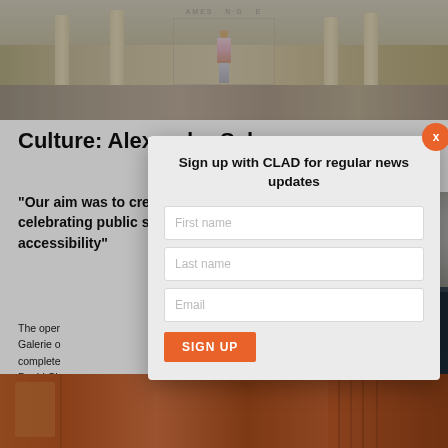[Figure (photo): Exterior photo of a building entrance with columns and a person in a floral dress standing at the doorway]
Culture: Alexander Schwarz
"Our aim was to create a place celebrating public space and accessibility"
[Figure (photo): Portrait photo of a person with white/grey hair]
The oper... Galerie o... complete... David Ch... lead desi... building...
SHARE T
[Figure (photo): Orange/brown colored panel or material detail shot at bottom of page]
[Figure (screenshot): Sign up modal overlay for CLAD newsletter with First name, Last name, Email fields and SIGN UP button]